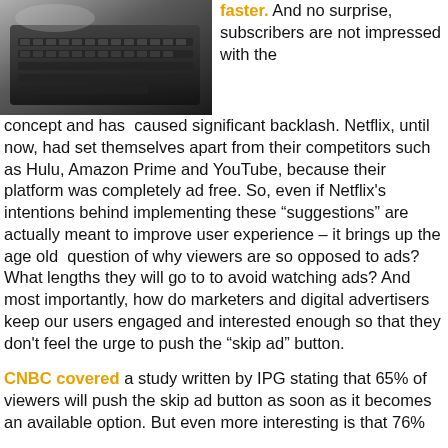[Figure (photo): Photo of a laptop keyboard viewed from above at an angle, in black and white tones.]
faster.  And no surprise, subscribers are not impressed with the concept and has  caused significant backlash. Netflix, until now, had set themselves apart from their competitors such as Hulu, Amazon Prime and YouTube, because their platform was completely ad free. So, even if Netflix’s intentions behind implementing these “suggestions” are actually meant to improve user experience – it brings up the age old  question of why viewers are so opposed to ads? What lengths they will go to to avoid watching ads? And most importantly, how do marketers and digital advertisers keep our users engaged and interested enough so that they don’t feel the urge to push the “skip ad” button.
CNBC covered a study written by IPG stating that 65% of viewers will push the skip ad button as soon as it becomes an available option. But even more interesting is that 76%